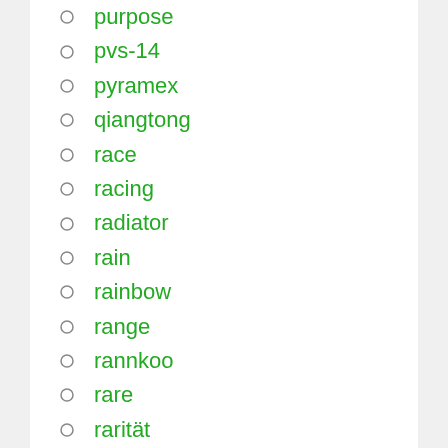purpose
pvs-14
pyramex
qiangtong
race
racing
radiator
rain
rainbow
range
rannkoo
rare
rarität
real
rear
redesign
regal
release3
renegade